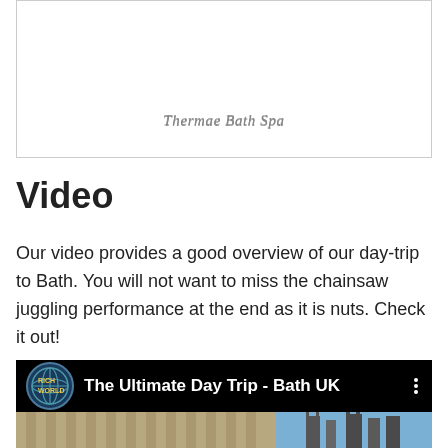[Figure (photo): Photo of Thermae Bath Spa, mostly white/blank area visible with caption]
Thermae Bath Spa
Video
Our video provides a good overview of our day-trip to Bath. You will not want to miss the chainsaw juggling performance at the end as it is nuts. Check it out!
[Figure (screenshot): YouTube video thumbnail for 'The Ultimate Day Trip - Bath UK' showing a globe logo, video title, three-dot menu, and an architectural image of Bath buildings below]